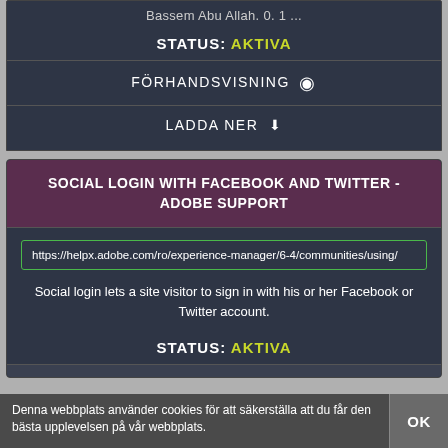Bassem Abu Allah. 0. 1 ...
STATUS: AKTIVA
FÖRHANDSVISNING 👁
LADDA NER ⬇
SOCIAL LOGIN WITH FACEBOOK AND TWITTER - ADOBE SUPPORT
https://helpx.adobe.com/ro/experience-manager/6-4/communities/using/
Social login lets a site visitor to sign in with his or her Facebook or Twitter account.
STATUS: AKTIVA
Denna webbplats använder cookies för att säkerställa att du får den bästa upplevelsen på vår webbplats.